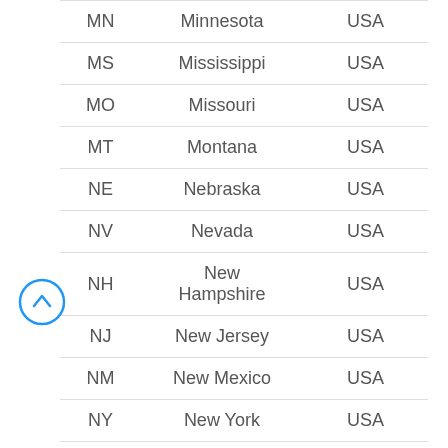| Code | State | Country |
| --- | --- | --- |
| MN | Minnesota | USA |
| MS | Mississippi | USA |
| MO | Missouri | USA |
| MT | Montana | USA |
| NE | Nebraska | USA |
| NV | Nevada | USA |
| NH | New Hampshire | USA |
| NJ | New Jersey | USA |
| NM | New Mexico | USA |
| NY | New York | USA |
[Figure (other): Scroll-to-top circular button with upward arrow icon in blue]